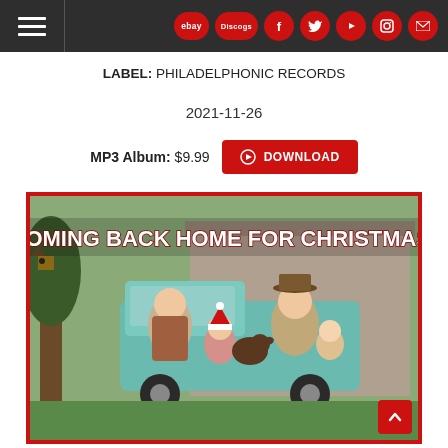Navigation bar with hamburger menu and social/store icons
LABEL: PHILADELPHONIC RECORDS
2021-11-26
MP3 Album: $9.99  ⊕ DOWNLOAD
[Figure (photo): Family photo on a vintage truck with text overlay 'COMING BACK HOME FOR CHRISTMAS!' — album cover art with a red border. A woman, man, child with Santa hat, baby, and a dog posed together outdoors near a barn.]